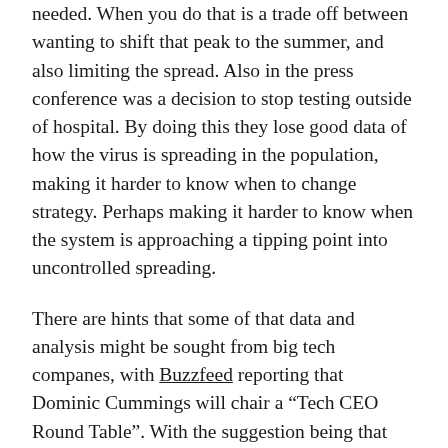needed. When you do that is a trade off between wanting to shift that peak to the summer, and also limiting the spread. Also in the press conference was a decision to stop testing outside of hospital. By doing this they lose good data of how the virus is spreading in the population, making it harder to know when to change strategy. Perhaps making it harder to know when the system is approaching a tipping point into uncontrolled spreading.
There are hints that some of that data and analysis might be sought from big tech companes, with Buzzfeed reporting that Dominic Cummings will chair a "Tech CEO Round Table". With the suggestion being that they have data that could help understand and combat the flow of coronavirus. This again is risky, as a source of data to understand viral spread social media is unproven, and perhaps this isn't the time to be testing unproven